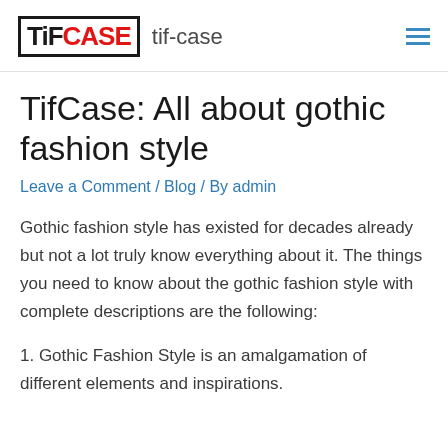TiFCASE tif-case
TifCase: All about gothic fashion style
Leave a Comment / Blog / By admin
Gothic fashion style has existed for decades already but not a lot truly know everything about it. The things you need to know about the gothic fashion style with complete descriptions are the following:
1. Gothic Fashion Style is an amalgamation of different elements and inspirations.